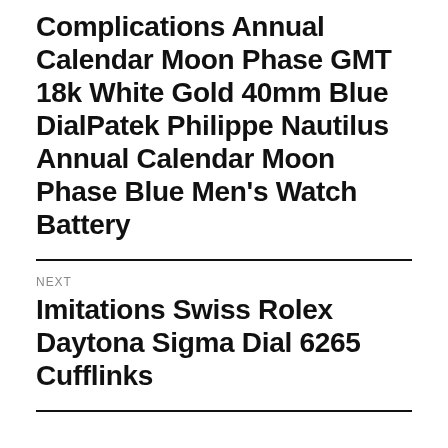Complications Annual Calendar Moon Phase GMT 18k White Gold 40mm Blue DialPatek Philippe Nautilus Annual Calendar Moon Phase Blue Men's Watch Battery
NEXT
Imitations Swiss Rolex Daytona Sigma Dial 6265 Cufflinks